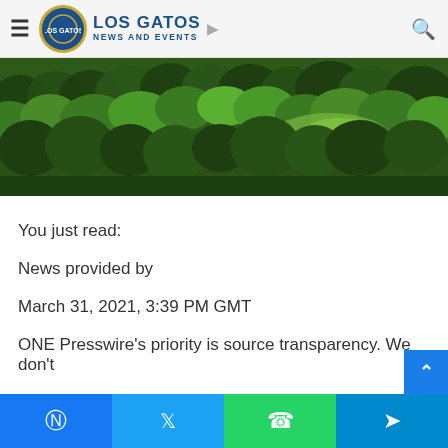Los Gatos News and Events
[Figure (photo): Aerial view of forested hills with green trees and a valley, possibly Los Gatos area]
You just read:
News provided by
March 31, 2021, 3:39 PM GMT
ONE Presswire's priority is source transparency. We don't